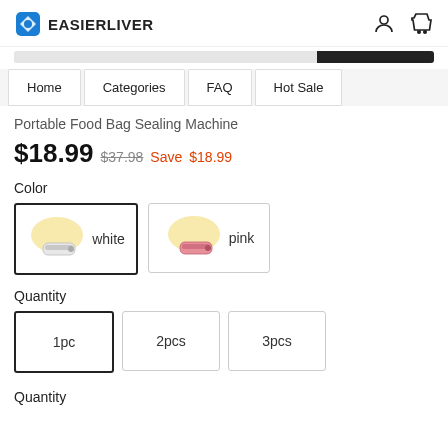EASIERLIVER
Portable Food Bag Sealing Machine
$18.99  $37.98  Save  $18.99
Color
white  pink
Quantity
1pc  2pcs  3pcs
Quantity